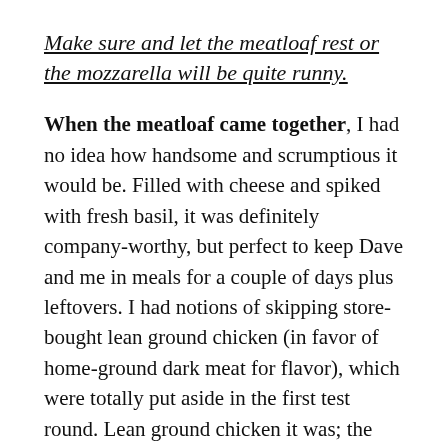Make sure and let the meatloaf rest or the mozzarella will be quite runny.
When the meatloaf came together, I had no idea how handsome and scrumptious it would be. Filled with cheese and spiked with fresh basil, it was definitely company-worthy, but perfect to keep Dave and me in meals for a couple of days plus leftovers. I had notions of skipping store-bought lean ground chicken (in favor of home-ground dark meat for flavor), which were totally put aside in the first test round. Lean ground chicken it was; the panade (a French term used for mixing a starch with liquid for tenderizing and moistening a dish) — in this case whole wheat bread cubes soaked in milk — kept the loaf moist and tender without